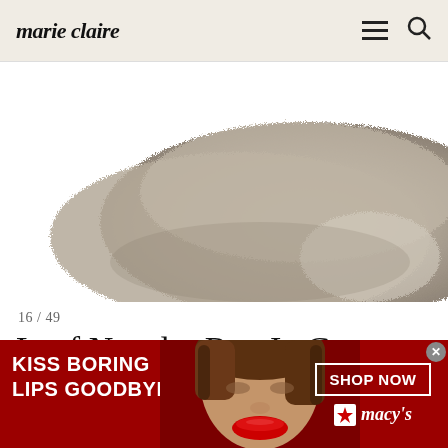marie claire
[Figure (photo): Close-up photo of a grey faux fur rug (Loaf Nuzzler Rug In Grey) on a white background, showing fluffy grey fur texture with an irregular shape.]
16 / 49
Loaf Nuzzler Rug In Grey
[Figure (photo): Macy's advertisement banner with dark red background. Left side shows bold white text 'KISS BORING LIPS GOODBYE'. Center shows a woman's face with bold red lipstick. Right side shows a 'SHOP NOW' button in white border and the Macy's logo with star.]